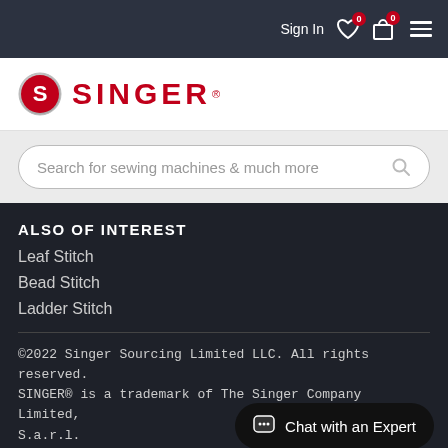Sign In | 0 (wishlist) | 0 (cart) | Menu
[Figure (logo): Singer brand logo with red S emblem and SINGER text in red]
Search for sewing machines & much more
ALSO OF INTEREST
Leaf Stitch
Bead Stitch
Ladder Stitch
©2022 Singer Sourcing Limited LLC. All rights reserved. SINGER® is a trademark of The Singer Company Limited, S.a.r.l.
Terms of Use
Privacy and Security
Chat with an Expert